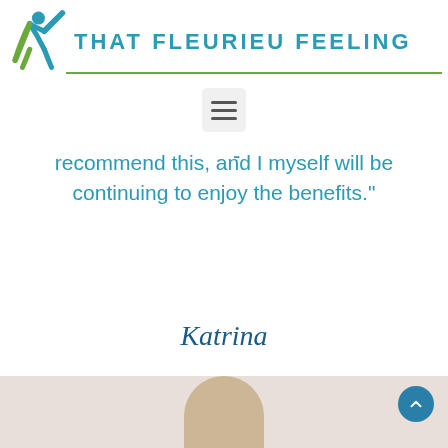[Figure (logo): That Fleurieu Feeling logo with stylized blue and green human figure and teal brand name text]
[Figure (screenshot): Hamburger menu button (three horizontal lines) in a light grey rounded rectangle]
recommend this, and I myself will be continuing to enjoy the benefits."
Katrina
[Figure (photo): Partial photo visible at bottom of page]